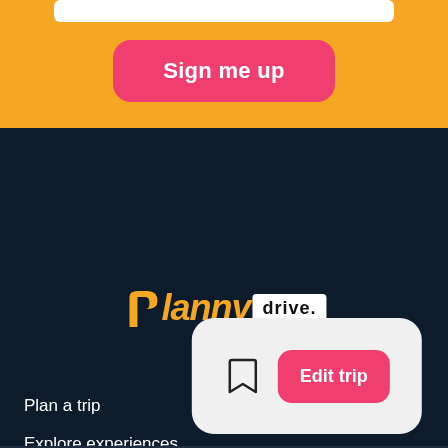[Figure (screenshot): Orange background section with a white search bar at top and a pink rounded 'Sign me up' button centered below]
Sign me up
[Figure (logo): Planny drive. logo — 'Planny' in italic orange bold font with stylized P, followed by 'drive.' in a white rounded rectangle badge]
Plan a trip
Explore experiences
About
Log in
FAQ
[Figure (screenshot): White rounded card with a bookmark icon and a pink 'Edit trip' button]